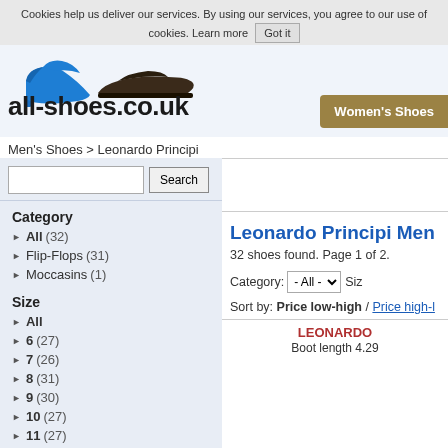Cookies help us deliver our services. By using our services, you agree to our use of cookies. Learn more Got it
[Figure (illustration): Blue high-heel shoe and dark brown men's oxford shoe logos for all-shoes.co.uk]
all-shoes.co.uk
Women's Shoes
Men's Shoes > Leonardo Principi
Search
Category
All (32)
Flip-Flops (31)
Moccasins (1)
Size
All
6 (27)
7 (26)
8 (31)
9 (30)
10 (27)
11 (27)
12 (25)
Leonardo Principi Men
32 shoes found. Page 1 of 2.
Category: - All -   Siz
Sort by: Price low-high / Price high-l
LEONARDO
Boot length 4.29